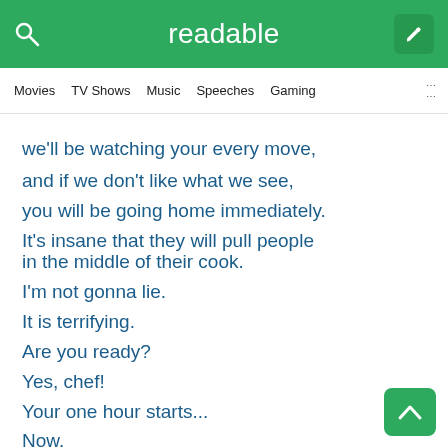readable
Movies  TV Shows  Music  Speeches  Gaming
we'll be watching your every move,
and if we don't like what we see,
you will be going home immediately.
It's insane that they will pull people in the middle of their cook.
I'm not gonna lie.
It is terrifying.
Are you ready?
Yes, chef!
Your one hour starts...
Now.
Good luck.
The competition begins not at the ranges